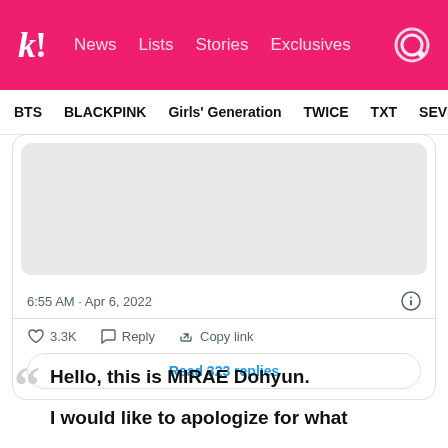k! News Lists Stories Exclusives
BTS BLACKPINK Girls' Generation TWICE TXT SEVE
[Figure (screenshot): Twitter/X embedded tweet card showing image area (grey placeholder), timestamp 6:55 AM · Apr 6, 2022, info icon, 3.3K likes, Reply, Copy link actions, and Read 323 replies button]
Hello, this is MIRAE Dohyun.

I would like to apologize for what